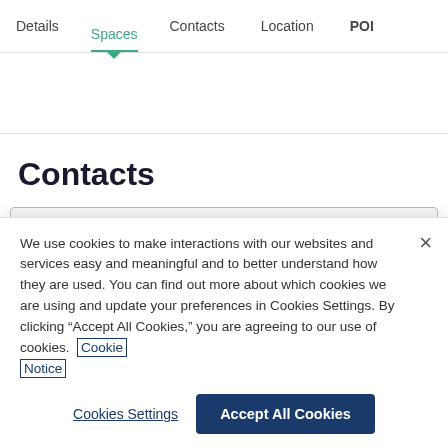Details  Spaces  Contacts  Location  POI
Contacts
We use cookies to make interactions with our websites and services easy and meaningful and to better understand how they are used. You can find out more about which cookies we are using and update your preferences in Cookies Settings. By clicking “Accept All Cookies,” you are agreeing to our use of cookies. Cookie Notice
Cookies Settings   Accept All Cookies